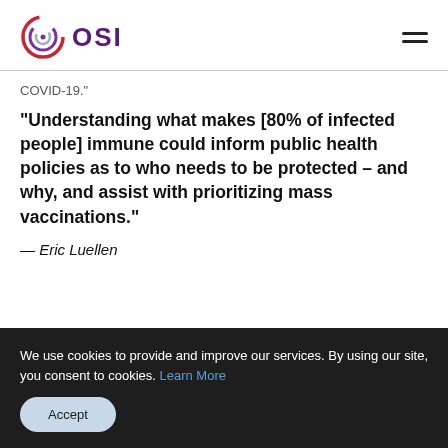OSI
COVID-19.”
“Understanding what makes [80% of infected people] immune could inform public health policies as to who needs to be protected – and why, and assist with prioritizing mass vaccinations.”
— Eric Luellen
We use cookies to provide and improve our services. By using our site, you consent to cookies. Learn More
Accept